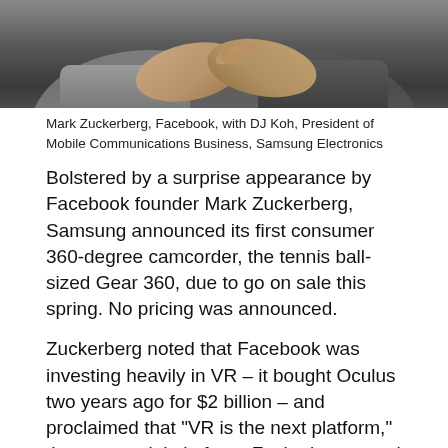[Figure (photo): Two people shaking hands, one in a grey shirt and one with a dark sleeve and wristwatch, against a dark background.]
Mark Zuckerberg, Facebook, with DJ Koh, President of Mobile Communications Business, Samsung Electronics
Bolstered by a surprise appearance by Facebook founder Mark Zuckerberg, Samsung announced its first consumer 360-degree camcorder, the tennis ball-sized Gear 360, due to go on sale this spring. No pricing was announced.
Zuckerberg noted that Facebook was investing heavily in VR – it bought Oculus two years ago for $2 billion – and proclaimed that "VR is the next platform," the next social platform. Zuckerberg noted that more than 1 million Facebookers a day are watching VR content on the social media site's 360 Video page; "our community already loves 360 videos," he noted.
Twice during the event, attendees were prompted to done a pair of Gear VR goggles to view special VR presentations of the phones and a 360-degree soccer